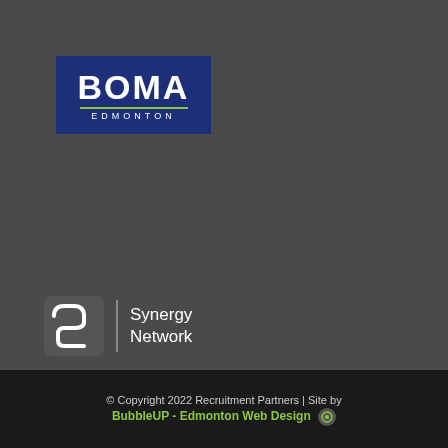[Figure (logo): BOMA Edmonton logo - blue rectangle with white BOMA text and green underline, EDMONTON text below]
[Figure (logo): Synergy Network logo - white interlocked S/N icon with vertical divider and Synergy Network text]
[Figure (logo): ACG Edmonton logo - green triangle A, CG in white bold text with registered mark, Edmonton in gray]
[Figure (logo): EO Edmonton logo - white rectangle with E, colorful circular O icon, and Edmonton text]
© Copyright 2022 Recruitment Partners | Site by BubbleUP - Edmonton Web Design